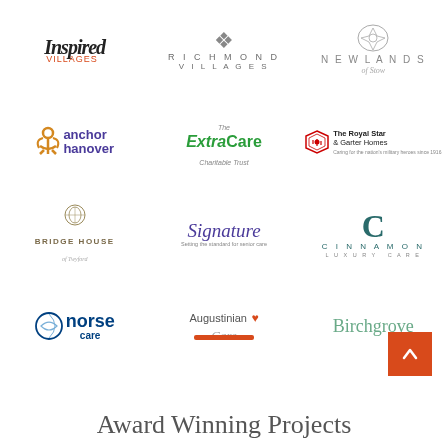[Figure (logo): Inspired Villages logo - script font with 'Villages' in orange]
[Figure (logo): Richmond Villages logo - spaced uppercase text with emblem]
[Figure (logo): Newlands of Stow logo - uppercase with crest]
[Figure (logo): anchor hanover logo - purple bold lowercase]
[Figure (logo): The ExtraCare Charitable Trust logo - green bold text]
[Figure (logo): The Royal Star & Garter Homes logo]
[Figure (logo): Bridge House of Twyford logo - gold crest]
[Figure (logo): Signature - Setting the standard for senior care logo]
[Figure (logo): Cinnamon Luxury Care logo - teal C with name]
[Figure (logo): Norse Care logo - dark blue bold]
[Figure (logo): Augustinian Care logo with heart]
[Figure (logo): Birchgrove logo - teal serif]
Award Winning Projects